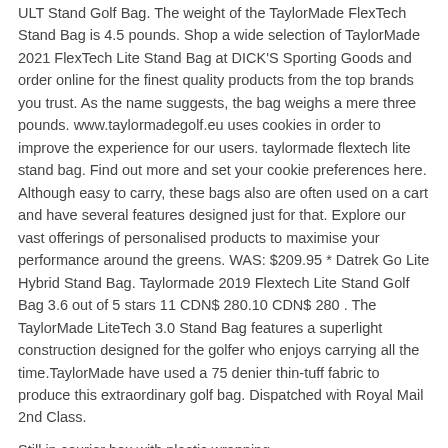ULT Stand Golf Bag. The weight of the TaylorMade FlexTech Stand Bag is 4.5 pounds. Shop a wide selection of TaylorMade 2021 FlexTech Lite Stand Bag at DICK'S Sporting Goods and order online for the finest quality products from the top brands you trust. As the name suggests, the bag weighs a mere three pounds. www.taylormadegolf.eu uses cookies in order to improve the experience for our users. taylormade flextech lite stand bag. Find out more and set your cookie preferences here. Although easy to carry, these bags also are often used on a cart and have several features designed just for that. Explore our vast offerings of personalised products to maximise your performance around the greens. WAS: $209.95 * Datrek Go Lite Hybrid Stand Bag. Taylormade 2019 Flextech Lite Stand Golf Bag 3.6 out of 5 stars 11 CDN$ 280.10 CDN$ 280 . The TaylorMade LiteTech 3.0 Stand Bag features a superlight construction designed for the golfer who enjoys carrying all the time.TaylorMade have used a 75 denier thin-tuff fabric to produce this extraordinary golf bag. Dispatched with Royal Mail 2nd Class.
Still in courier box with plastic wrapping
23 TaylorMade 2019 LiteTech 3.0 Stand Golf Bag 3.9 out of 5 stars 5 The